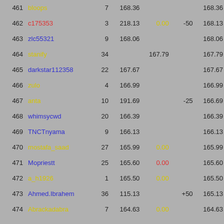| Rank | Name | N | Pts | Bonus | Pen | Total |
| --- | --- | --- | --- | --- | --- | --- |
| 461 | bloops | 7 | 168.36 |  |  | 168.36 |
| 462 | c175353 | 3 | 218.13 | 0.00 | -50 | 168.13 |
| 463 | zlc55321 | 9 | 168.06 |  |  | 168.06 |
| 464 | stanify | 34 |  | 167.79 |  | 167.79 |
| 465 | darkstar112358 | 22 | 167.67 |  |  | 167.67 |
| 466 | zulo | 4 | 166.99 |  |  | 166.99 |
| 467 | anta | 10 | 191.69 |  | -25 | 166.69 |
| 468 | whimsycwd | 20 | 166.39 |  |  | 166.39 |
| 469 | TNCTnyama | 9 | 166.13 |  |  | 166.13 |
| 470 | mostafa_saad | 27 | 165.99 | 0.00 |  | 165.99 |
| 471 | Mopriestt | 25 | 165.60 | 0.00 |  | 165.60 |
| 472 | a_h1926 | 1 | 165.50 | 0.00 |  | 165.50 |
| 473 | Ahmed.Ibrahem | 36 | 115.13 |  | +50 | 165.13 |
| 474 | Abrackadabra | 7 | 164.63 | 0.00 |  | 164.63 |